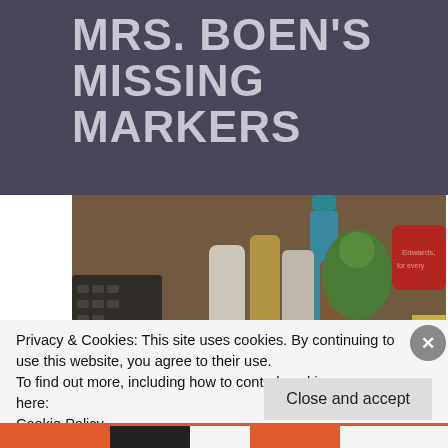MRS. BOEN'S MISSING MARKERS
[Figure (photo): A cup/container holding multiple Sharpie markers in various colors (white, blue, gold, brown), with a keyboard, a green Hulk figurine, and a red mug visible in the background on a desk.]
Privacy & Cookies: This site uses cookies. By continuing to use this website, you agree to their use.
To find out more, including how to control cookies, see here:
Cookie Policy
Close and accept